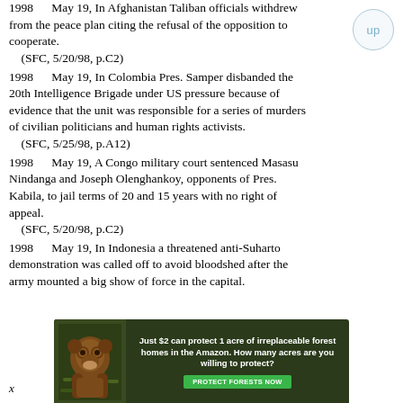1998    May 19, In Afghanistan Taliban officials withdrew from the peace plan citing the refusal of the opposition to cooperate. (SFC, 5/20/98, p.C2)
1998    May 19, In Colombia Pres. Samper disbanded the 20th Intelligence Brigade under US pressure because of evidence that the unit was responsible for a series of murders of civilian politicians and human rights activists. (SFC, 5/25/98, p.A12)
1998    May 19, A Congo military court sentenced Masasu Nindanga and Joseph Olenghankoy, opponents of Pres. Kabila, to jail terms of 20 and 15 years with no right of appeal. (SFC, 5/20/98, p.C2)
1998    May 19, In Indonesia a threatened anti-Suharto demonstration was called off to avoid bloodshed after the army mounted a big show of force in the capital.
[Figure (other): Advertisement banner: dark green background with orangutan image on left. Text reads: 'Just $2 can protect 1 acre of irreplaceable forest homes in the Amazon. How many acres are you willing to protect?' with a green 'PROTECT FORESTS NOW' button.]
x